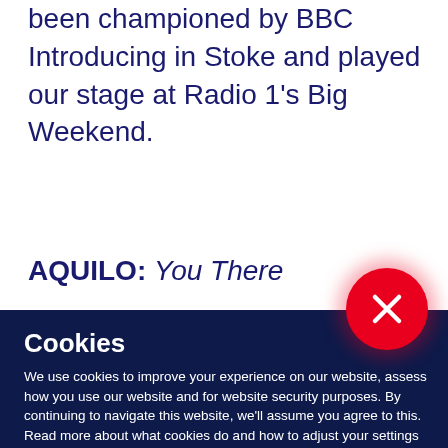been championed by BBC Introducing in Stoke and played our stage at Radio 1's Big Weekend.
AQUILO: You There
[Figure (other): Red circular close/dismiss button with white X icon, positioned at the boundary between the white and dark blue sections]
Cookies
We use cookies to improve your experience on our website, assess how you use our website and for website security purposes. By continuing to navigate this website, we'll assume you agree to this. Read more about what cookies do and how to adjust your settings here.